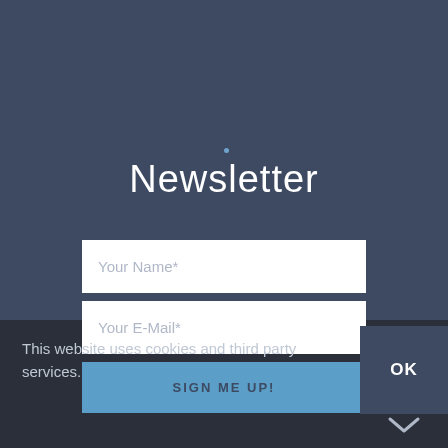Newsletter
Your Name*
Your E-Mail*
SIGN ME UP!
This website uses cookies and third party services.
OK